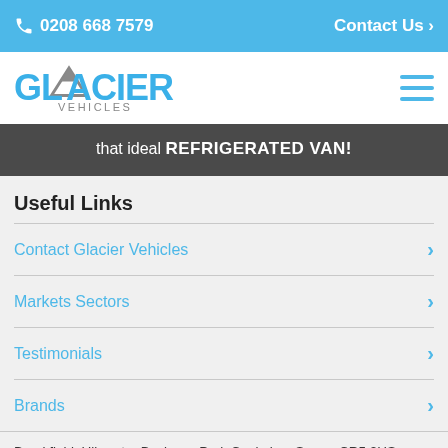☎ 0208 668 7579   Contact Us ›
[Figure (logo): Glacier Vehicles logo — blue mountain/glacier icon with GLACIER in bold blue and VEHICLES in grey below]
that ideal REFRIGERATED VAN!
Useful Links
Contact Glacier Vehicles
Markets Sectors
Testimonials
Brands
Breakfield, Ullswater Business Park Coulsdon, Surrey CR5 2HS, United Kingdom